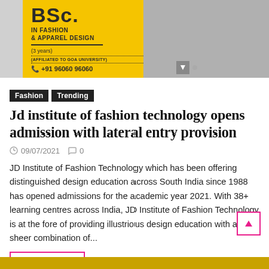[Figure (photo): Banner advertisement for BSc in Fashion & Apparel Design (3 years), affiliated to Goa University, phone +91 96060 96060, yellow background with model in dark clothing on grey background]
Fashion
Trending
Jd institute of fashion technology opens admission with lateral entry provision
09/07/2021  0
JD Institute of Fashion Technology which has been offering distinguished design education across South India since 1988 has opened admissions for the academic year 2021. With 38+ learning centres across India, JD Institute of Fashion Technology is at the fore of providing illustrious design education with a sheer combination of...
READ MORE